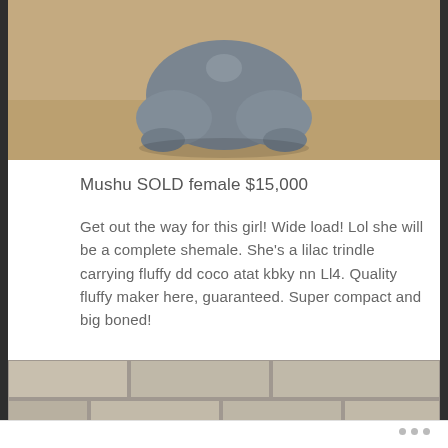[Figure (photo): Gray rabbit/puppy viewed from behind, sitting on a tan/sandy surface]
Mushu SOLD female $15,000
Get out the way for this girl! Wide load! Lol she will be a complete shemale. She’s a lilac trindle carrying fluffy dd coco atat kbky nn Ll4. Quality fluffy maker here, guaranteed. Super compact and big boned!
[Figure (photo): Gray puppy/dog photographed from above/front showing top of head, with brick wall background]
•••